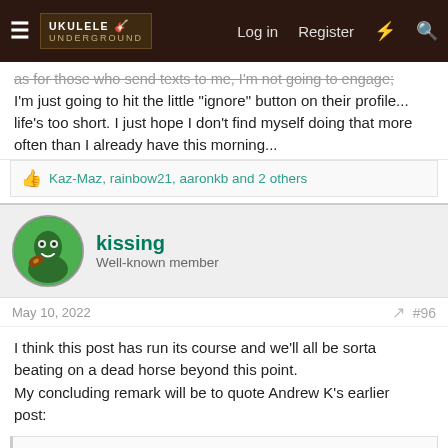UKULELE UNDERGROUND — Log in | Register
as for those who send texts to me, I'm not going to engage; I'm just going to hit the little "ignore" button on their profile... life's too short. I just hope I don't find myself doing that more often than I already have this morning...
Kaz-Maz, rainbow21, aaronkb and 2 others
kissing
Well-known member
May 10, 2022
#96
I think this post has run its course and we'll all be sorta beating on a dead horse beyond this point.
My concluding remark will be to quote Andrew K's earlier post:
AndrewKuker said: